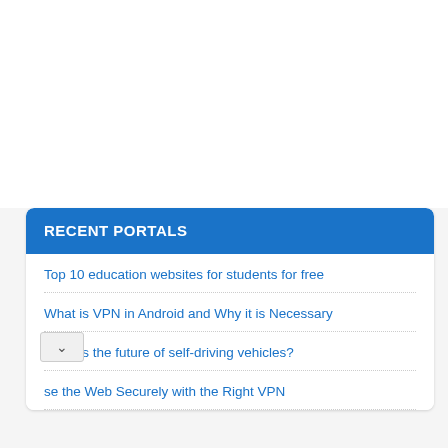RECENT PORTALS
Top 10 education websites for students for free
What is VPN in Android and Why it is Necessary
What is the future of self-driving vehicles?
Browse the Web Securely with the Right VPN